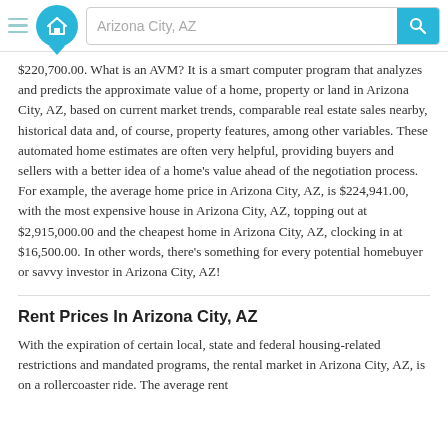Arizona City, AZ [search bar navigation]
$220,700.00. What is an AVM? It is a smart computer program that analyzes and predicts the approximate value of a home, property or land in Arizona City, AZ, based on current market trends, comparable real estate sales nearby, historical data and, of course, property features, among other variables. These automated home estimates are often very helpful, providing buyers and sellers with a better idea of a home's value ahead of the negotiation process. For example, the average home price in Arizona City, AZ, is $224,941.00, with the most expensive house in Arizona City, AZ, topping out at $2,915,000.00 and the cheapest home in Arizona City, AZ, clocking in at $16,500.00. In other words, there's something for every potential homebuyer or savvy investor in Arizona City, AZ!
Rent Prices In Arizona City, AZ
With the expiration of certain local, state and federal housing-related restrictions and mandated programs, the rental market in Arizona City, AZ, is on a rollercoaster ride. The average rent